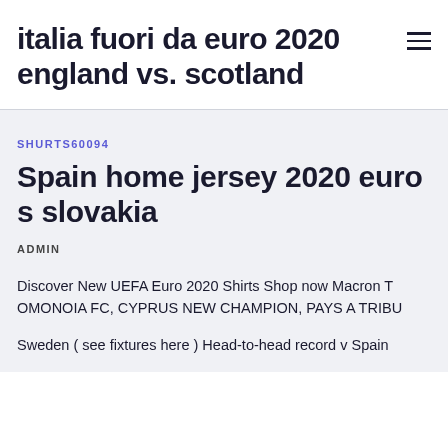italia fuori da euro 2020 england vs. scotland
SHURTS60094
Spain home jersey 2020 euro s slovakia
ADMIN
Discover New UEFA Euro 2020 Shirts Shop now Macron T OMONOIA FC, CYPRUS NEW CHAMPION, PAYS A TRIBU
Sweden ( see fixtures here ) Head-to-head record v Spain